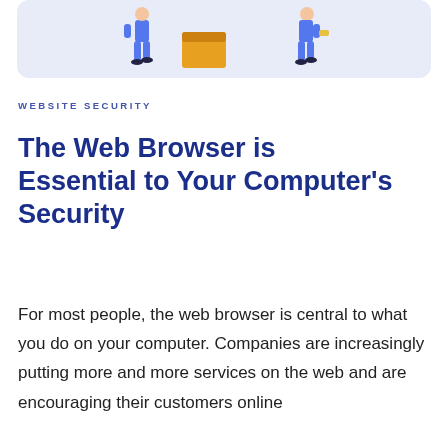[Figure (illustration): Illustration of two people with a moving box on a light blue/lavender background, partially cropped at the top of the page.]
WEBSITE SECURITY
The Web Browser is Essential to Your Computer’s Security
For most people, the web browser is central to what you do on your computer. Companies are increasingly putting more and more services on the web and are encouraging their customers online